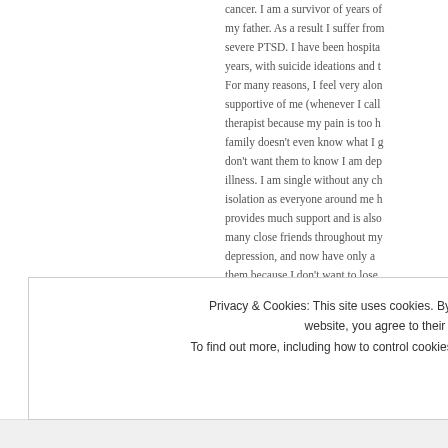cancer. I am a survivor of years of abuse from my father. As a result I suffer from severe PTSD. I have been hospitalised for years, with suicide ideations and treatments. For many reasons, I feel very alone. My family is supportive of me (whenever I call my therapist because my pain is too hard... my family doesn't even know what I go through). I don't want them to know I am depressed or ill illness. I am single without any children. This isolation as everyone around me has families provides much support and is also... I had many close friends throughout my life, before depression, and now have only a few. I push them because I don't want to lose them. Despite all I have told you, I do know...
Privacy & Cookies: This site uses cookies. By continuing to use this website, you agree to their use. To find out more, including how to control cookies, see here: Cookie Policy